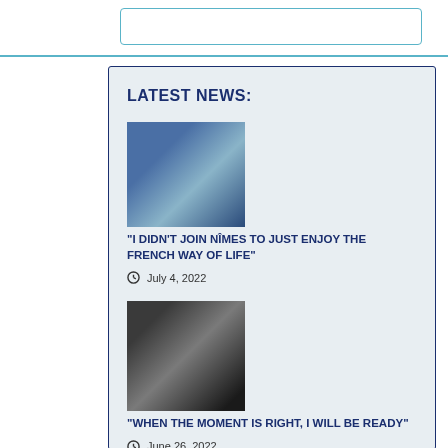LATEST NEWS:
[Figure (photo): Athlete in blue jacket with arms crossed]
“I DIDN’T JOIN NÎMES TO JUST ENJOY THE FRENCH WAY OF LIFE”
July 4, 2022
[Figure (photo): Female athlete holding a ball, wearing black t-shirt]
“WHEN THE MOMENT IS RIGHT, I WILL BE READY”
June 26, 2022
[Figure (photo): Athlete in dark setting, partially visible]